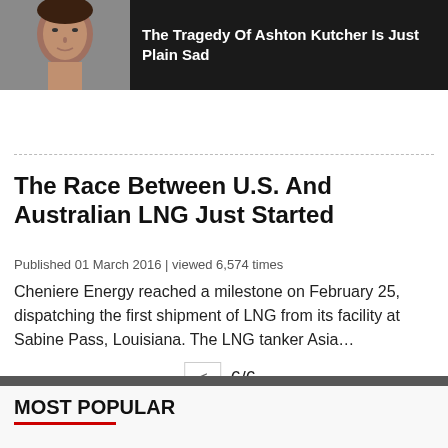Iran, wh... reserves... ention to dramatically increase its energy production. It is also…
[Figure (photo): Ad banner: photo of Ashton Kutcher on left with dark overlay text 'The Tragedy Of Ashton Kutcher Is Just Plain Sad']
The Race Between U.S. And Australian LNG Just Started
Published 01 March 2016 | viewed 6,574 times
Cheniere Energy reached a milestone on February 25, dispatching the first shipment of LNG from its facility at Sabine Pass, Louisiana. The LNG tanker Asia…
< 6/6
MOST POPULAR